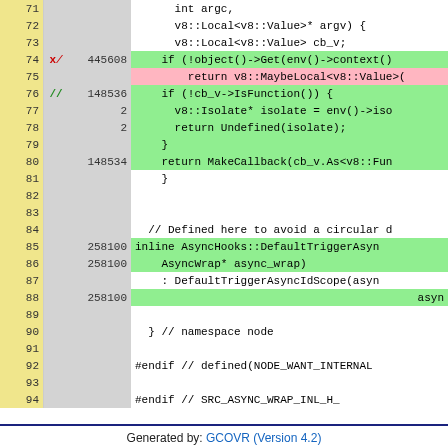[Figure (screenshot): Code coverage viewer showing C++ source lines 71-94 with line numbers, coverage markers (checkmarks/X), execution counts, and code content. Green-highlighted lines are covered, pink lines are uncovered. Includes inline function AsyncHooks::DefaultTriggerAsync and namespace/endif directives.]
Generated by: GCOVR (Version 4.2)